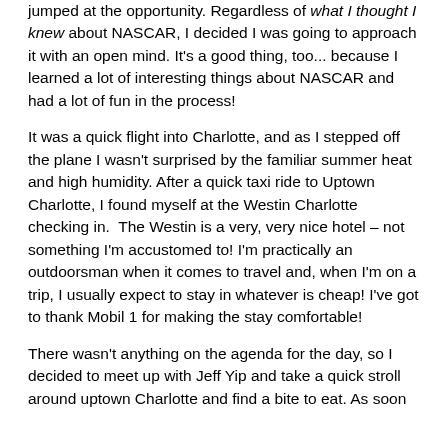jumped at the opportunity. Regardless of what I thought I knew about NASCAR, I decided I was going to approach it with an open mind. It's a good thing, too... because I learned a lot of interesting things about NASCAR and had a lot of fun in the process!
It was a quick flight into Charlotte, and as I stepped off the plane I wasn't surprised by the familiar summer heat and high humidity. After a quick taxi ride to Uptown Charlotte, I found myself at the Westin Charlotte checking in.  The Westin is a very, very nice hotel – not something I'm accustomed to! I'm practically an outdoorsman when it comes to travel and, when I'm on a trip, I usually expect to stay in whatever is cheap! I've got to thank Mobil 1 for making the stay comfortable!
There wasn't anything on the agenda for the day, so I decided to meet up with Jeff Yip and take a quick stroll around uptown Charlotte and find a bite to eat. As soon